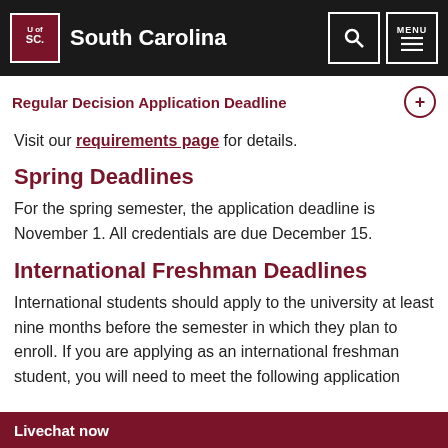University of South Carolina
Regular Decision Application Deadline
Visit our requirements page for details.
Spring Deadlines
For the spring semester, the application deadline is November 1. All credentials are due December 15.
International Freshman Deadlines
International students should apply to the university at least nine months before the semester in which they plan to enroll. If you are applying as an international freshman student, you will need to meet the following application
Livechat now